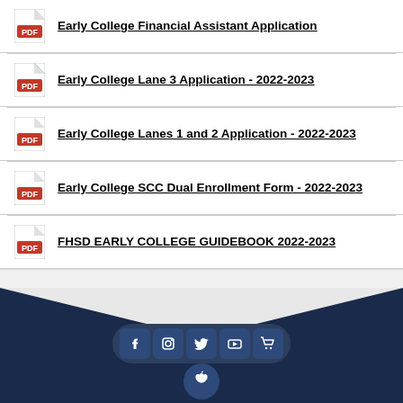Early College Financial Assistant Application
Early College Lane 3 Application - 2022-2023
Early College Lanes 1 and 2 Application - 2022-2023
Early College SCC Dual Enrollment Form - 2022-2023
FHSD EARLY COLLEGE GUIDEBOOK 2022-2023
PAGE 1 OF 1